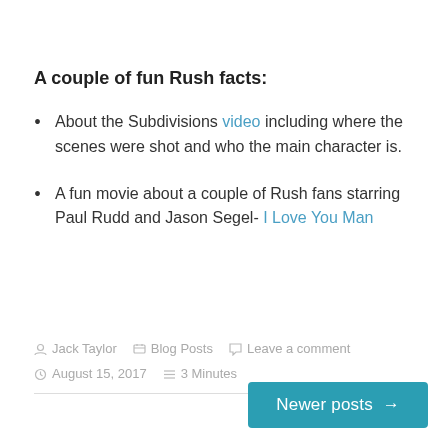A couple of fun Rush facts:
About the Subdivisions video including where the scenes were shot and who the main character is.
A fun movie about a couple of Rush fans starring Paul Rudd and Jason Segel- I Love You Man
Jack Taylor  Blog Posts  Leave a comment  August 15, 2017  3 Minutes
Newer posts →